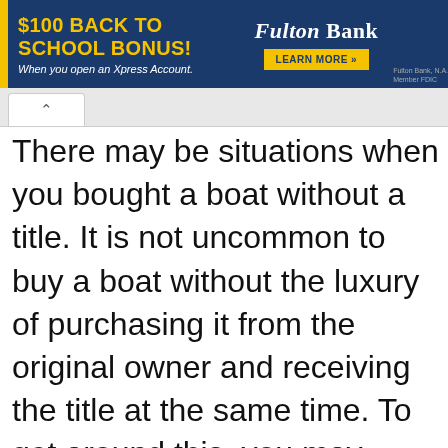[Figure (screenshot): Fulton Bank advertisement banner: '$100 BACK TO SCHOOL BONUS! When you open an Xpress Account.' with Fulton Bank logo and LEARN MORE button on dark blue background with yellow accent bar.]
There may be situations when you bought a boat without a title. It is not uncommon to buy a boat without the luxury of purchasing it from the original owner and receiving the title at the same time. To get around this, you may have to apply for a title or use an alternative name.